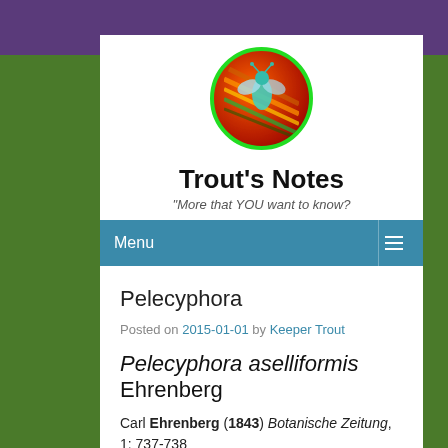[Figure (logo): Circular logo with green border, colorful insect on psychedelic background]
Trout's Notes
"More that YOU want to know?
Menu
Pelecyphora
Posted on 2015-01-01 by Keeper Trout
Pelecyphora aselliformis Ehrenberg
Carl Ehrenberg (1843) Botanische Zeitung, 1: 737-738